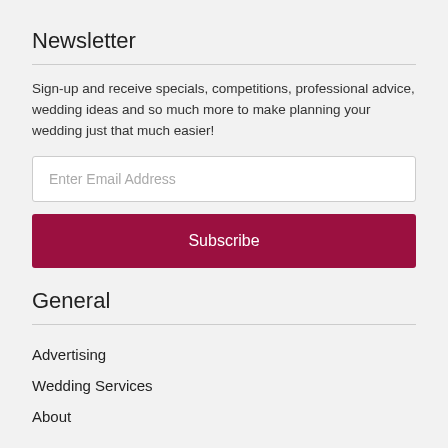Newsletter
Sign-up and receive specials, competitions, professional advice, wedding ideas and so much more to make planning your wedding just that much easier!
Enter Email Address
Subscribe
General
Advertising
Wedding Services
About